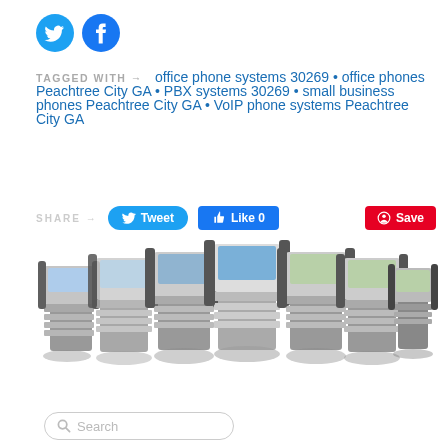[Figure (other): Twitter and Facebook social media icon circles (blue)]
TAGGED WITH → office phone systems 30269 • office phones Peachtree City GA • PBX systems 30269 • small business phones Peachtree City GA • VoIP phone systems Peachtree City GA
[Figure (other): Share row with Tweet, Like 0, and Save buttons]
[Figure (photo): Group of Cisco office desk phones arranged in a curved row on white background]
[Figure (other): Search bar with magnifying glass icon and placeholder text 'Search']